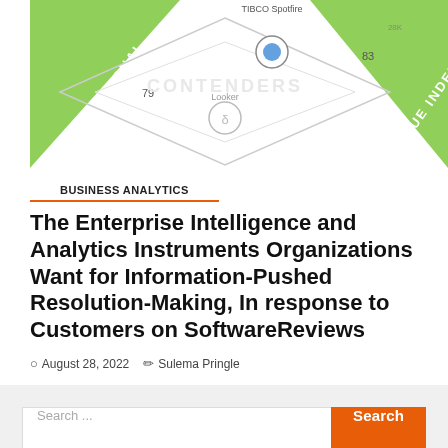[Figure (infographic): Partial view of a diamond/radar-shaped analytics comparison chart showing TIBCO Spotfire, Looker, and other tools with NET EMOTIONAL and VALUE INDEX labels on green diagonal banners. Numbers 79, 83, and a central circle with delta symbol visible.]
BUSINESS ANALYTICS
The Enterprise Intelligence and Analytics Instruments Organizations Want for Information-Pushed Resolution-Making, In response to Customers on SoftwareReviews
August 28, 2022   Sulema Pringle
[Figure (screenshot): Search bar with placeholder text 'Search ...' and an orange 'Search' button on the right, inside a light gray sidebar area. An orange back-to-top arrow button overlaps the bottom right.]
RECENT POSTS